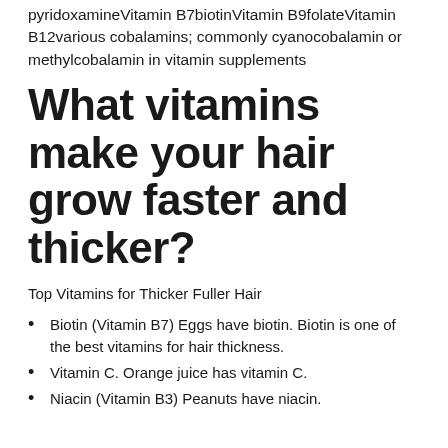pyridoxamineVitamin B7biotinVitamin B9folateVitamin B12various cobalamins; commonly cyanocobalamin or methylcobalamin in vitamin supplements
What vitamins make your hair grow faster and thicker?
Top Vitamins for Thicker Fuller Hair
Biotin (Vitamin B7) Eggs have biotin. Biotin is one of the best vitamins for hair thickness.
Vitamin C. Orange juice has vitamin C.
Niacin (Vitamin B3) Peanuts have niacin.